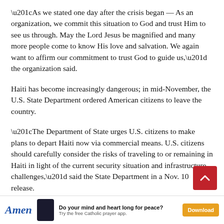“As we stated one day after the crisis began — As an organization, we commit this situation to God and trust Him to see us through. May the Lord Jesus be magnified and many more people come to know His love and salvation. We again want to affirm our commitment to trust God to guide us,” the organization said.
Haiti has become increasingly dangerous; in mid-November, the U.S. State Department ordered American citizens to leave the country.
“The Department of State urges U.S. citizens to make plans to depart Haiti now via commercial means. U.S. citizens should carefully consider the risks of traveling to or remaining in Haiti in light of the current security situation and infrastructure challenges,” said the State Department in a Nov. 10 release.
“Widespread fuel shortages may limit essential services emergency, including access to banks, money transfers,
Amen — Do your mind and heart long for peace? Try the free Catholic prayer app. Download